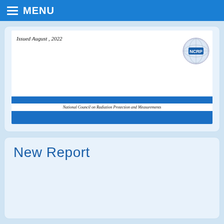MENU
[Figure (screenshot): NCRP document cover preview showing 'Issued August, 2022' with NCRP logo and blue banner bars with text 'National Council on Radiation Protection and Measurements']
New Report